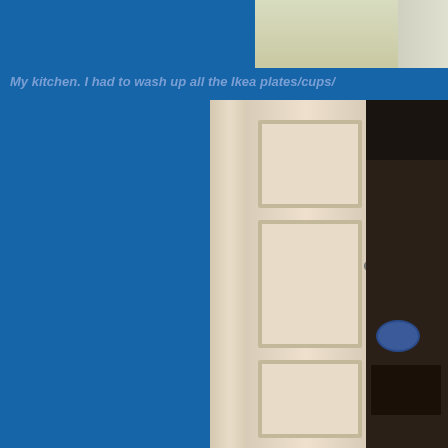[Figure (photo): A partially open white interior closet door revealing dark closet interior with shelves, hangers, and stored items including a blue circular object. A narrow beige door frame/molding is visible on the left side of the image.]
My kitchen. I had to wash up all the Ikea plates/cups/